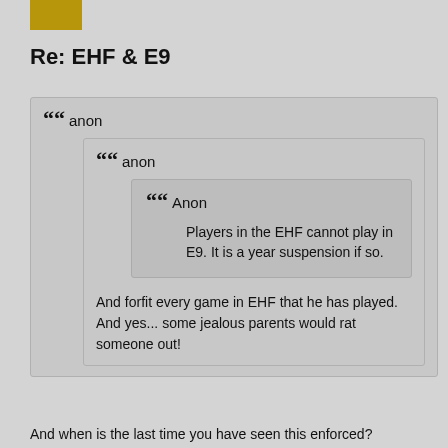[Figure (other): Gold/yellow colored avatar rectangle in top left]
Re: EHF & E9
anon

anon

Anon
Players in the EHF cannot play in E9. It is a year suspension if so.

And forfit every game in EHF that he has played. And yes... some jealous parents would rat someone out!
And when is the last time you have seen this enforced?